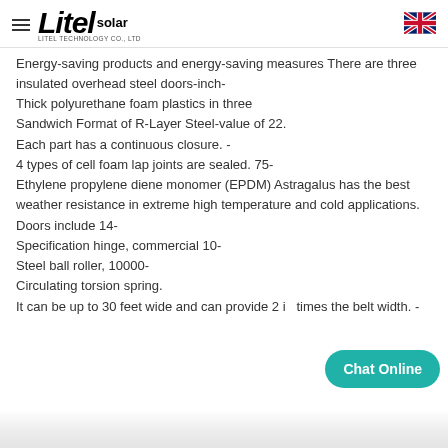Litel solar - LITEL TECHNOLOGY CO., LTD
Energy-saving products and energy-saving measures There are three insulated overhead steel doors-inch-
Thick polyurethane foam plastics in three
Sandwich Format of R-Layer Steel-value of 22.
Each part has a continuous closure. -
4 types of cell foam lap joints are sealed. 75-
Ethylene propylene diene monomer (EPDM) Astragalus has the best weather resistance in extreme high temperature and cold applications.
Doors include 14-
Specification hinge, commercial 10-
Steel ball roller, 10000-
Circulating torsion spring.
It can be up to 30 feet wide and can provide 2 in times the belt width. -